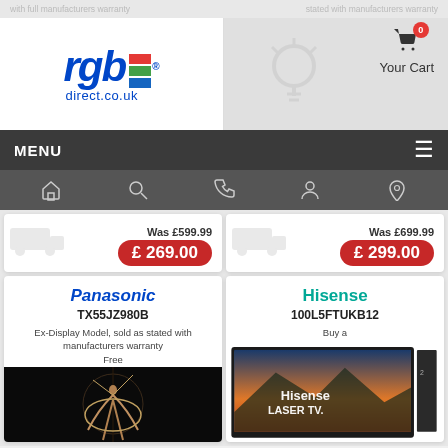with full manufacturers warranty | stated with manufacturers warranty
[Figure (logo): rgb direct.co.uk logo in blue with red, green, blue vertical bars]
[Figure (screenshot): Shopping cart icon with 0 badge and Your Cart label]
MENU
[Figure (infographic): Navigation icon bar with home, search, phone, account, location icons]
Was £599.99
£ 269.00
Was £699.99
£ 299.00
Panasonic
TX55JZ980B
Ex-Display Model, sold as stated with manufacturers warranty
Free
Hisense
100L5FTUKB12
Buy a
[Figure (photo): Panasonic TV product image on dark background showing dancer/performer]
[Figure (photo): Hisense Laser TV product photo with scenic mountain/nature background and Hisense LASER TV branding]